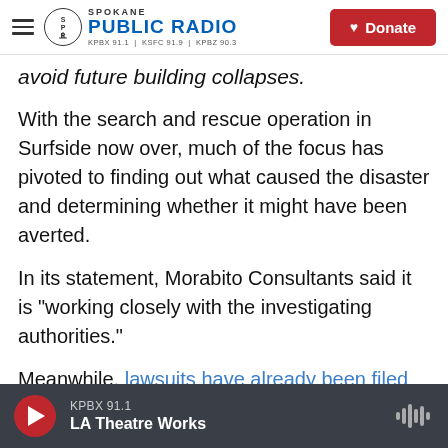Spokane Public Radio | KPBX 91.1 | KSFC 91.9 | KPBZ 90.3 | Donate
avoid future building collapses.
With the search and rescue operation in Surfside now over, much of the focus has pivoted to finding out what caused the disaster and determining whether it might have been averted.
In its statement, Morabito Consultants said it is "working closely with the investigating authorities."
Meanwhile, lawsuits have already been filed against Morabito Consultants, the condo board and others.
KPBX 91.1 | LA Theatre Works